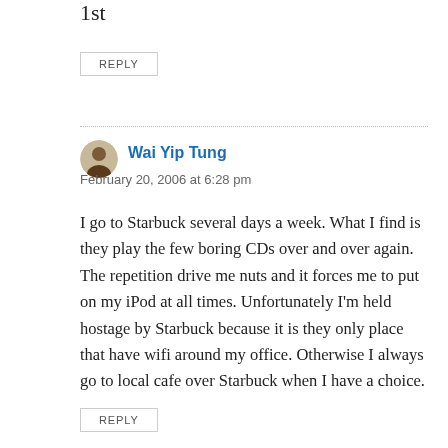1st
REPLY
Wai Yip Tung
February 20, 2006 at 6:28 pm
I go to Starbuck several days a week. What I find is they play the few boring CDs over and over again. The repetition drive me nuts and it forces me to put on my iPod at all times. Unfortunately I'm held hostage by Starbuck because it is they only place that have wifi around my office. Otherwise I always go to local cafe over Starbuck when I have a choice.
REPLY